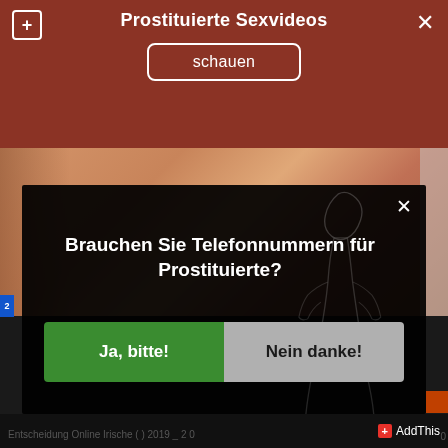Prostituierte Sexvideos
schauen
[Figure (photo): Partial view of a person, skin tones visible, cropped adult content screenshot]
Brauchen Sie Telefonnummern für Prostituierte?
Ja, bitte!
Nein danke!
AddThis